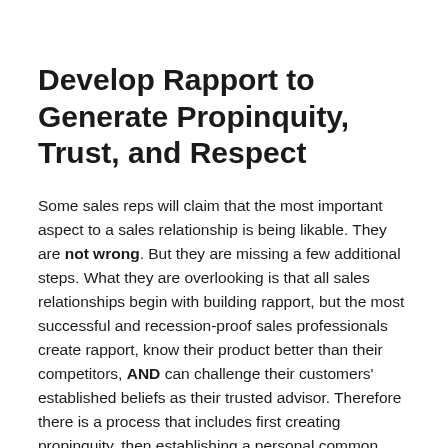Develop Rapport to Generate Propinquity, Trust, and Respect
Some sales reps will claim that the most important aspect to a sales relationship is being likable. They are not wrong. But they are missing a few additional steps. What they are overlooking is that all sales relationships begin with building rapport, but the most successful and recession-proof sales professionals create rapport, know their product better than their competitors, AND can challenge their customers' established beliefs as their trusted advisor. Therefore there is a process that includes first creating propinquity, then establishing a personal common interest, then demonstrating expertise, then polling for interest, and finally challenging the status quo by offering a new opportunity for new business.